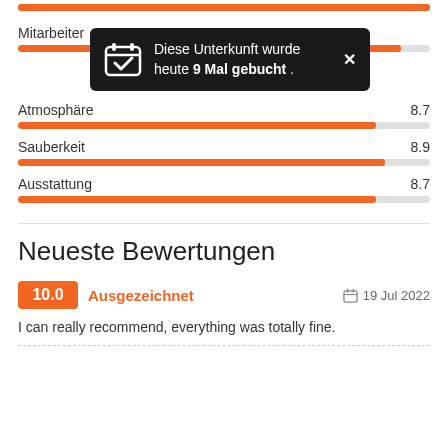[Figure (infographic): Tooltip popup overlay: dark background with calendar icon, text 'Diese Unterkunft wurde heute 9 Mal gebucht .' and close X button]
Mitarbeiter
Atmosphäre 8.7
Sauberkeit 8.9
Ausstattung 8.7
Neueste Bewertungen
10.0 Ausgezeichnet — 19 Jul 2022
I can really recommend, everything was totally fine.